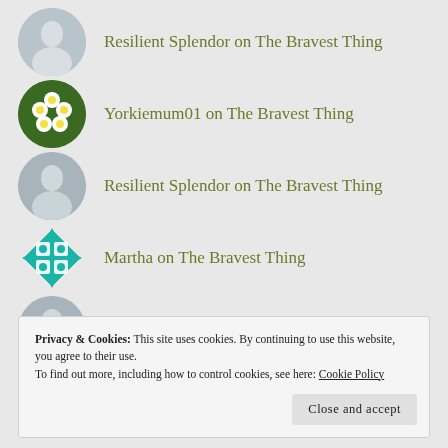Resilient Splendor on The Bravest Thing
Yorkiemum01 on The Bravest Thing
Resilient Splendor on The Bravest Thing
Martha on The Bravest Thing
Resilient Splendor on Reunited Through Loss
Privacy & Cookies: This site uses cookies. By continuing to use this website, you agree to their use.
To find out more, including how to control cookies, see here: Cookie Policy
Close and accept